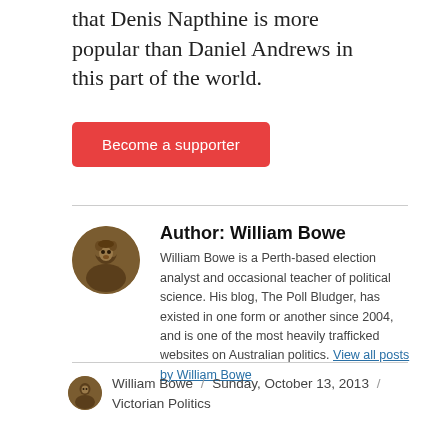that Denis Napthine is more popular than Daniel Andrews in this part of the world.
Become a supporter
Author: William Bowe
William Bowe is a Perth-based election analyst and occasional teacher of political science. His blog, The Poll Bludger, has existed in one form or another since 2004, and is one of the most heavily trafficked websites on Australian politics. View all posts by William Bowe
William Bowe / Sunday, October 13, 2013 / Victorian Politics